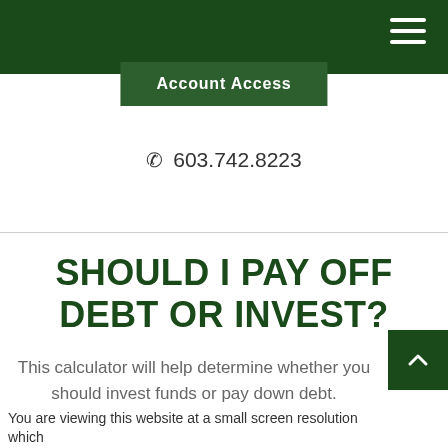Account Access
603.742.8223
SHOULD I PAY OFF DEBT OR INVEST?
This calculator will help determine whether you should invest funds or pay down debt.
You are viewing this website at a small screen resolution which